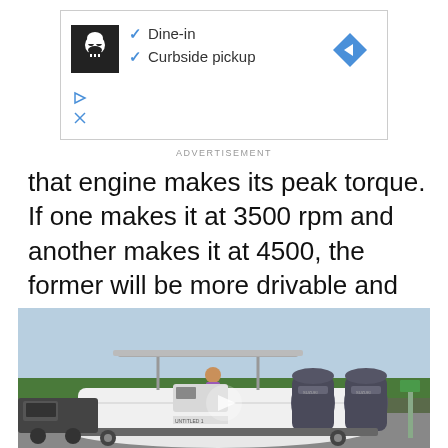[Figure (screenshot): Advertisement banner showing a restaurant logo with checkmarks for Dine-in and Curbside pickup, and a navigation arrow icon on the right.]
ADVERTISEMENT
that engine makes its peak torque. If one makes it at 3500 rpm and another makes it at 4500, the former will be more drivable and will be a more capable hauler."
[Figure (photo): A white center console boat with twin outboard motors on a trailer in a parking lot. A person in a purple shirt is visible on the boat. Trees are in the background.]